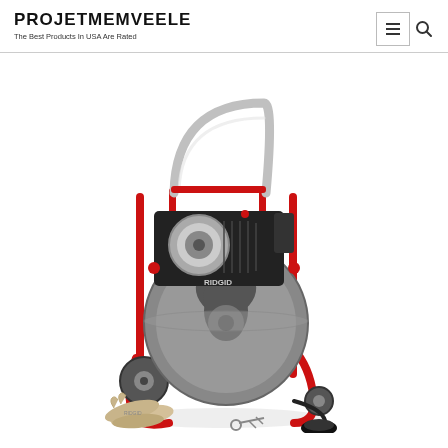PROJETMEMVEELE
The Best Products In USA Are Rated
[Figure (photo): A Ridgid brand electric drain cleaner/snake machine on a red steel cart with large drum, electric motor, two wheels, stainless steel handle, along with work gloves, keys, and accessories laid on the ground in front.]